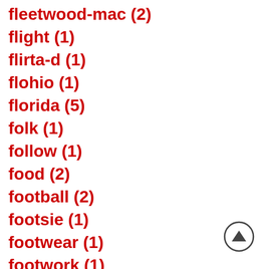fleetwood-mac (2)
flight (1)
flirta-d (1)
flohio (1)
florida (5)
folk (1)
follow (1)
food (2)
football (2)
footsie (1)
footwear (1)
footwork (1)
[Figure (other): Scroll-to-top button: circle with upward-pointing triangle inside]